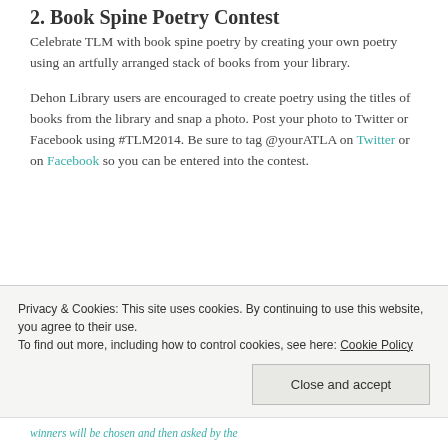2. Book Spine Poetry Contest
Celebrate TLM with book spine poetry by creating your own poetry using an artfully arranged stack of books from your library.
Dehon Library users are encouraged to create poetry using the titles of books from the library and snap a photo. Post your photo to Twitter or Facebook using #TLM2014. Be sure to tag @yourATLA on Twitter or on Facebook so you can be entered into the contest.
Privacy & Cookies: This site uses cookies. By continuing to use this website, you agree to their use.
To find out more, including how to control cookies, see here: Cookie Policy
Close and accept
winners will be chosen and then asked by the